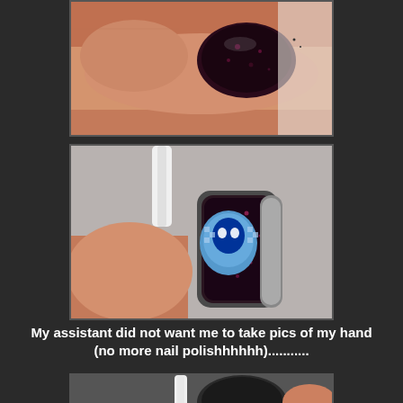[Figure (photo): Close-up photo of a finger with dark purple/black glittery nail polish on a light background]
[Figure (photo): Close-up photo of a nail polish bottle being held, showing a dark purple/black glittery polish with a blue skull/character label sticker, white cap]
My assistant did not want me to take pics of my hand (no more nail polishhhhhh)...........
[Figure (photo): Partial photo showing a nail polish bottle on a dark surface with a hand/finger visible]